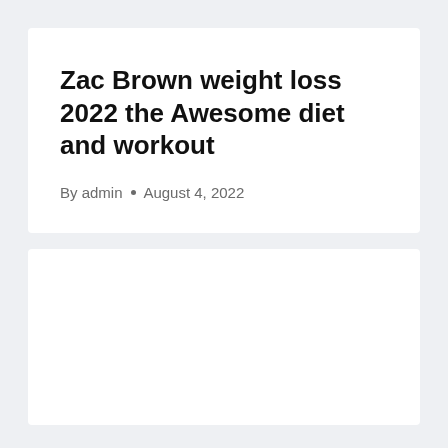Zac Brown weight loss 2022 the Awesome diet and workout
By admin • August 4, 2022